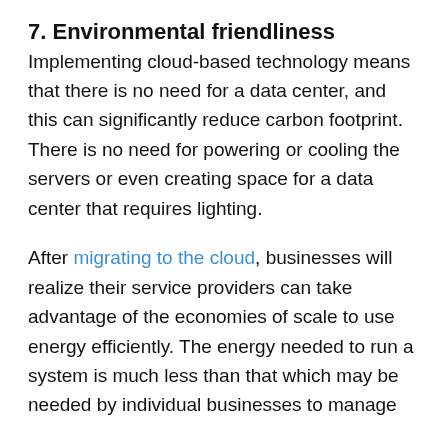7. Environmental friendliness
Implementing cloud-based technology means that there is no need for a data center, and this can significantly reduce carbon footprint. There is no need for powering or cooling the servers or even creating space for a data center that requires lighting.
After migrating to the cloud, businesses will realize their service providers can take advantage of the economies of scale to use energy efficiently. The energy needed to run a system is much less than that which may be needed by individual businesses to manage